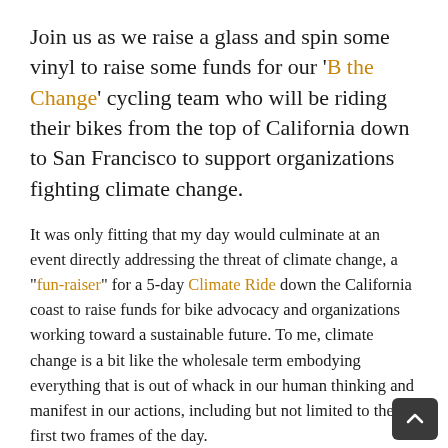Join us as we raise a glass and spin some vinyl to raise some funds for our 'B the Change' cycling team who will be riding their bikes from the top of California down to San Francisco to support organizations fighting climate change.
It was only fitting that my day would culminate at an event directly addressing the threat of climate change, a "fun-raiser" for a 5-day Climate Ride down the California coast to raise funds for bike advocacy and organizations working toward a sustainable future. To me, climate change is a bit like the wholesale term embodying everything that is out of whack in our human thinking and manifest in our actions, including but not limited to the first two frames of the day.
In turn, I also think that there isn't one big holy grail of a...